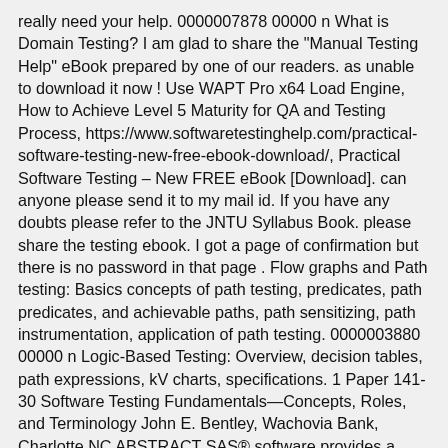really need your help. 0000007878 00000 n What is Domain Testing? I am glad to share the "Manual Testing Help" eBook prepared by one of our readers. as unable to download it now ! Use WAPT Pro x64 Load Engine, How to Achieve Level 5 Maturity for QA and Testing Process, https://www.softwaretestinghelp.com/practical-software-testing-new-free-ebook-download/, Practical Software Testing – New FREE eBook [Download]. can anyone please send it to my mail id. If you have any doubts please refer to the JNTU Syllabus Book. please share the testing ebook. I got a page of confirmation but there is no password in that page . Flow graphs and Path testing: Basics concepts of path testing, predicates, path predicates, and achievable paths, path sensitizing, path instrumentation, application of path testing. 0000003880 00000 n Logic-Based Testing: Overview, decision tables, path expressions, kV charts, specifications. 1 Paper 141-30 Software Testing Fundamentals—Concepts, Roles, and Terminology John E. Bentley, Wachovia Bank, Charlotte NC ABSTRACT SAS® software provides a complete set of application development tools for building stand-alone, client-server, and Internet-enabled applications, and SAS Institute provides excellent training in using their software